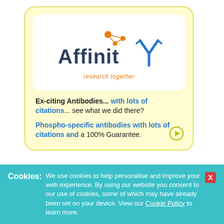[Figure (logo): Affinity Research Together logo — stylized dark navy text 'Affinity' with orange molecular dots above and blue antibody Y-shape on the right, tagline 'research together' in orange italic]
Ex-citing Antibodies... with lots of citations... see what we did there?
Phospho-specific antibodies with lots of citations and a 100% Guarantee.
Cookies: We use cookies to help personalise and improve your web experience. By using our website you consent to our use of cookies, some of which may have already been set on your device. View our Cookie Policy to learn more.